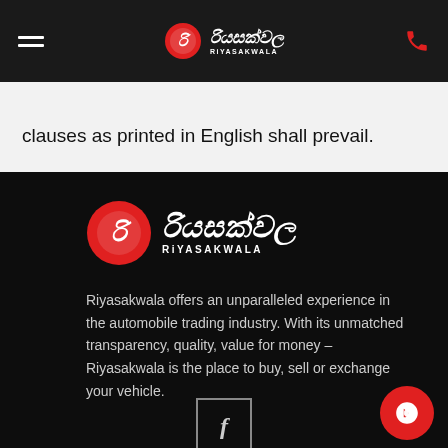Riyasakwala navigation header
clauses as printed in English shall prevail.
[Figure (logo): Riyasakwala logo with red circular emblem and white Sinhala and Latin text on dark background]
Riyasakwala offers an unparalleled experience in the automobile trading industry. With its unmatched transparency, quality, value for money – Riyasakwala is the place to buy, sell or exchange your vehicle.
[Figure (other): Facebook icon in a square outline box]